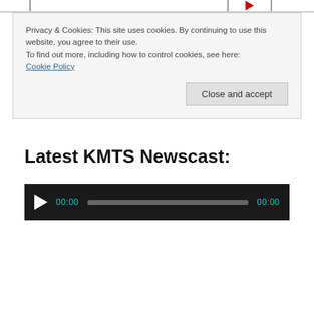Privacy & Cookies: This site uses cookies. By continuing to use this website, you agree to their use. To find out more, including how to control cookies, see here: Cookie Policy [Close and accept button]
Latest KMTS Newscast:
[Figure (other): Audio player widget with dark background, play button, timestamp 00:00, progress bar, and end time 00:00]